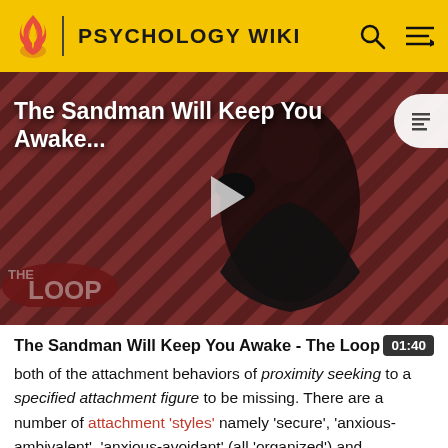PSYCHOLOGY WIKI
[Figure (screenshot): Video thumbnail showing The Sandman character in dark costume against a red diagonal-striped background, with 'The Loop' watermark and a play button overlay. Title reads 'The Sandman Will Keep You Awake...']
The Sandman Will Keep You Awake - The Loop  01:40
both of the attachment behaviors of proximity seeking to a specified attachment figure to be missing. There are a number of attachment 'styles' namely 'secure', 'anxious-ambivalent', 'anxious-avoidant' (all 'organized') and